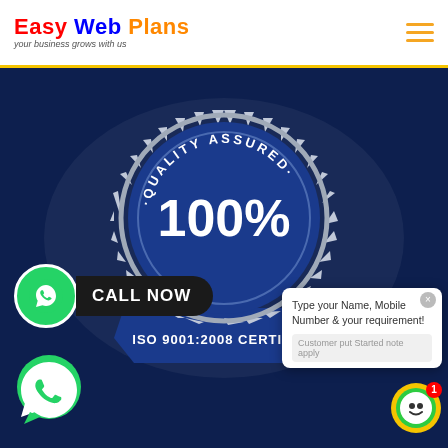Easy Web Plans — your business grows with us
[Figure (logo): Easy Web Plans logo with colored text and tagline 'your business grows with us']
[Figure (illustration): Quality Assured 100% ISO 9001:2008 Certified badge/seal on dark blue background]
[Figure (infographic): WhatsApp icon with CALL NOW button label in black pill shape]
[Figure (infographic): WhatsApp icon (large, bottom left)]
Type your Name, Mobile Number & your requirement!
Customer put Started note apply